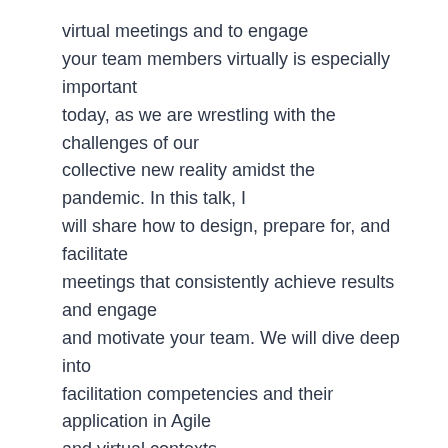virtual meetings and to engage your team members virtually is especially important today, as we are wrestling with the challenges of our collective new reality amidst the pandemic. In this talk, I will share how to design, prepare for, and facilitate meetings that consistently achieve results and engage and motivate your team. We will dive deep into facilitation competencies and their application in Agile and virtual contexts.
Guest Speaker: Maria Fafard
Maria Fafard is an Executive and Agile Coach, facilitator, and speaker who loves helping leaders, teams, and organizations reach their potential. She is a Professional Certified Coach (PCC), a Certified Professional Facilitator (CPF), and a graduate of a leadership coaching program